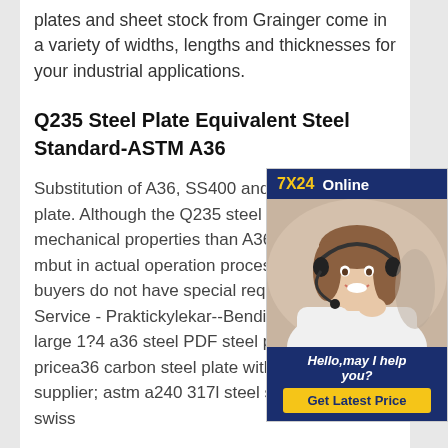plates and sheet stock from Grainger come in a variety of widths, lengths and thicknesses for your industrial applications.
Q235 Steel Plate Equivalent Steel Standard-ASTM A36
Substitution of A36, SS400 and Q235 steel plate. Although the Q235 steel plate has lower mechanical properties than A36 and SS400 material, but in actual operation process, as long as the buyers do not have special requirement, Service - Praktickylekar--Bending Folding of large 1?4 a36 steel PDF steel plate coil pricea36 carbon steel plate with astm standard supplier; astm a240 317l steel strip; ss540 swiss
[Figure (photo): Advertisement widget showing a customer service representative wearing a headset, with a dark blue header reading '7X24 Online', a footer with italic text 'Hello, may I help you?' and a yellow 'Get Latest Price' button]